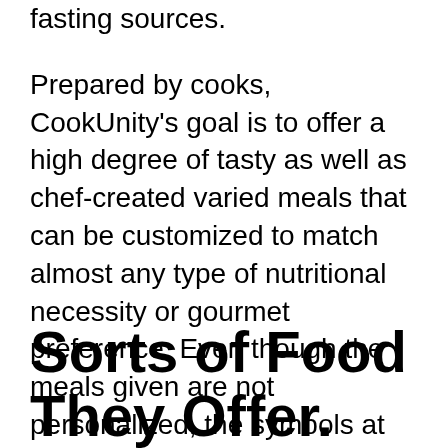fasting sources.
Prepared by cooks, CookUnity's goal is to offer a high degree of tasty as well as chef-created varied meals that can be customized to match almost any type of nutritional necessity or gourmet preference. Even though the meals given are not personalized, the symbols at the top of the food option web page aid you in customizing to your specific demands by allowing you to choose from low salt, vegan, paleo, and also gluten-free choices, among others instances of what is readily available.
Sorts of Food They Offer.